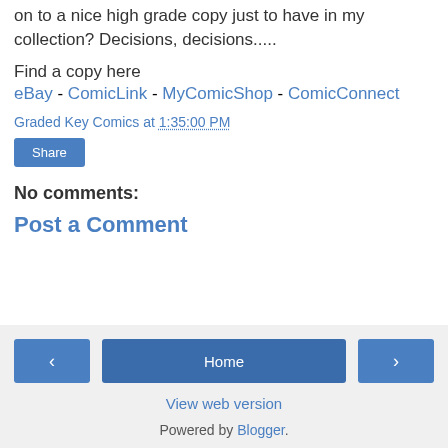on to a nice high grade copy just to have in my collection? Decisions, decisions.....
Find a copy here
eBay - ComicLink - MyComicShop - ComicConnect
Graded Key Comics at 1:35:00 PM
Share
No comments:
Post a Comment
< Home > View web version Powered by Blogger.